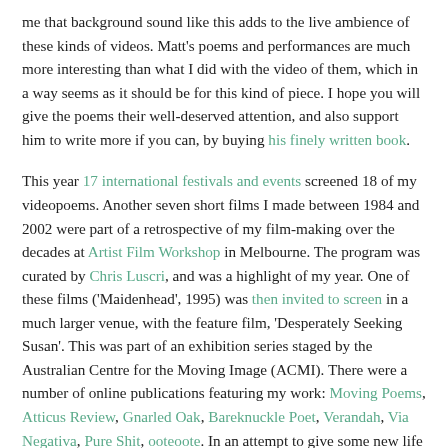me that background sound like this adds to the live ambience of these kinds of videos. Matt's poems and performances are much more interesting than what I did with the video of them, which in a way seems as it should be for this kind of piece. I hope you will give the poems their well-deserved attention, and also support him to write more if you can, by buying his finely written book.
This year 17 international festivals and events screened 18 of my videopoems. Another seven short films I made between 1984 and 2002 were part of a retrospective of my film-making over the decades at Artist Film Workshop in Melbourne. The program was curated by Chris Luscri, and was a highlight of my year. One of these films ('Maidenhead', 1995) was then invited to screen in a much larger venue, with the feature film, 'Desperately Seeking Susan'. This was part of an exhibition series staged by the Australian Centre for the Moving Image (ACMI). There were a number of online publications featuring my work: Moving Poems, Atticus Review, Gnarled Oak, Bareknuckle Poet, Verandah, Via Negativa, Pure Shit, ooteoote. In an attempt to give some new life to the ghost town that has been my YouTube account, I also added about 30 videopoems there for anyone who prefers viewing on that site (Vimeo is my own site of choice as a film-making base).